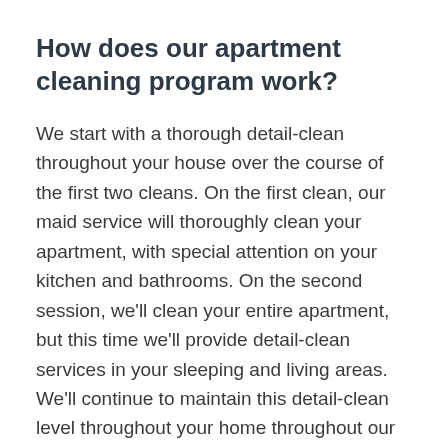How does our apartment cleaning program work?
We start with a thorough detail-clean throughout your house over the course of the first two cleans. On the first clean, our maid service will thoroughly clean your apartment, with special attention on your kitchen and bathrooms. On the second session, we'll clean your entire apartment, but this time we'll provide detail-clean services in your sleeping and living areas. We'll continue to maintain this detail-clean level throughout your home throughout our next visits by providing deep cleaning services on a rotating basis.
Every time we clean, we'll provide services that include the following: